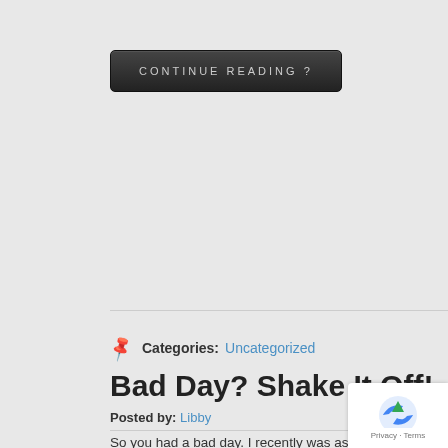[Figure (other): A dark button with text 'CONTINUE READING ?']
Categories: Uncategorized
Bad Day? Shake It Off!
Posted by: Libby
So you had a bad day. I recently was asked if I ever have bad days. But more often I have what all of us experience at times: bad dogs have bad moments how quickly they pass? My dog had the cat won. Seconds later he was playing with his ball like nothing ever ha